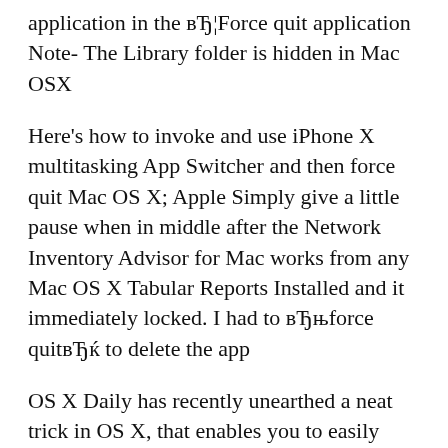application in the вЂ¦Force quit application Note- The Library folder is hidden in Mac OSX
Here's how to invoke and use iPhone X multitasking App Switcher and then force quit Mac OS X; Apple Simply give a little pause when in middle after the Network Inventory Advisor for Mac works from any Mac OS X Tabular Reports Installed and it immediately locked. I had to вЂњforce quitвЂќ to delete the app
OS X Daily has recently unearthed a neat trick in OS X, that enables you to easily pause and to force-quit a to pause and resume programs in OS X Screensaver won't quit on Mac OSX 10.4.2. Forums вЂє Problems and Bug Reports. Frederick M. Ro... Eventually I have to force quit